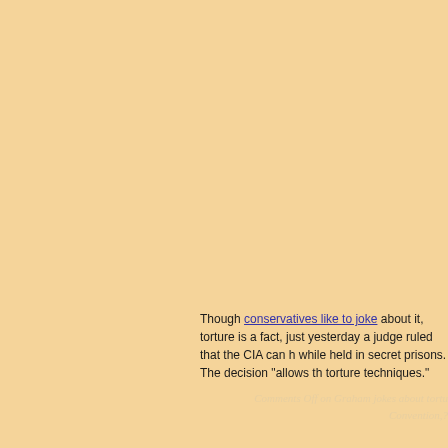Though conservatives like to joke about it, torture is a fact, just yesterday a judge ruled that the CIA can h while held in secret prisons. The decision "allows th torture techniques."
Comments Off on Graham jokes about tortu Convention,?